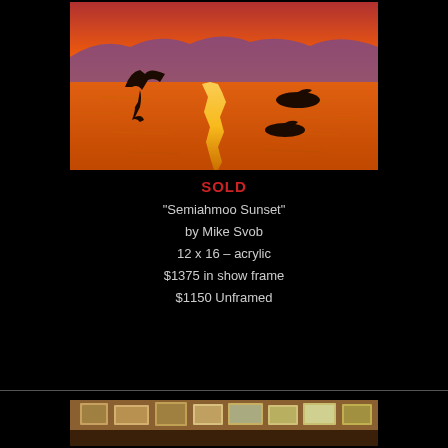[Figure (photo): Painting titled 'Semiahmoo Sunset' showing birds silhouetted against an orange sunset over water]
SOLD
"Semiahmoo Sunset"
by Mike Svob
12 x 16 – acrylic
$1375 in show frame
$1150 Unframed
[Figure (photo): Gallery interior showing framed paintings on walls]